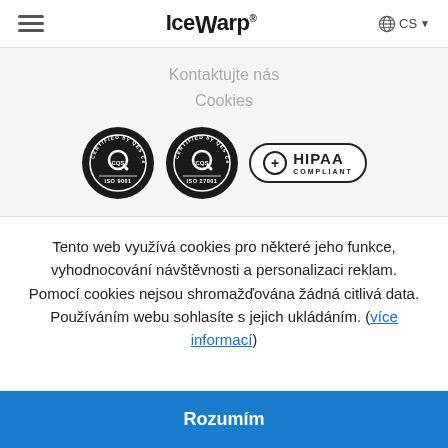IceWarp — CS navigation header
Kontaktujte nás
Cookies
[Figure (logo): Two ISO certification badges (ISO 9001 and ISO 27001) by QES Cert and one HIPAA Compliant badge]
Tento web využívá cookies pro některé jeho funkce, vyhodnocování návštěvnosti a personalizaci reklam. Pomocí cookies nejsou shromažďována žádná citlivá data. Používáním webu sohlasíte s jejich ukládáním. (více informací)
Rozumím